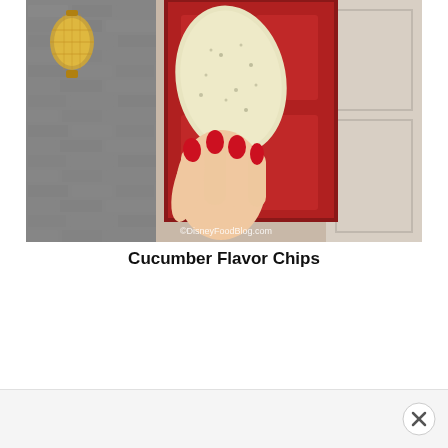[Figure (photo): A hand with red nail polish holding a large light-colored chip (cucumber flavor) on a stick, in front of a red door and brick wall with a Chinese lantern visible in the background. Watermark reads ©DisneyFoodBlog.com in the lower right corner.]
Cucumber Flavor Chips